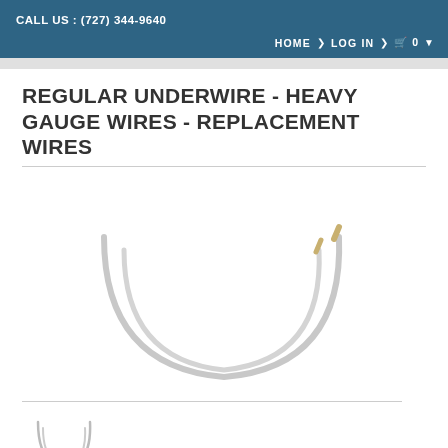CALL US : (727) 344-9640
HOME > LOG IN > 🛒 0
REGULAR UNDERWIRE - HEAVY GAUGE WIRES - REPLACEMENT WIRES
[Figure (photo): Two curved bra underwires shown side by side on a white background. The wires are U-shaped/crescent shaped, one appears slightly larger than the other. The right ends of the wires show a yellowish/tan tip.]
[Figure (photo): Small thumbnail image of two curved bra underwires, same product shown smaller for product gallery.]